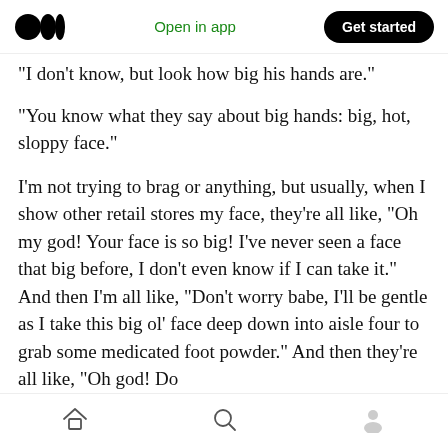Open in app | Get started
"I don't know, but look how big his hands are."
“You know what they say about big hands: big, hot, sloppy face.”
I’m not trying to brag or anything, but usually, when I show other retail stores my face, they’re all like, “Oh my god! Your face is so big! I’ve never seen a face that big before, I don’t even know if I can take it.” And then I’m all like, “Don’t worry babe, I’ll be gentle as I take this big ol’ face deep down into aisle four to grab some medicated foot powder.” And then they’re all like, “Oh god! Do
Home | Search | Profile